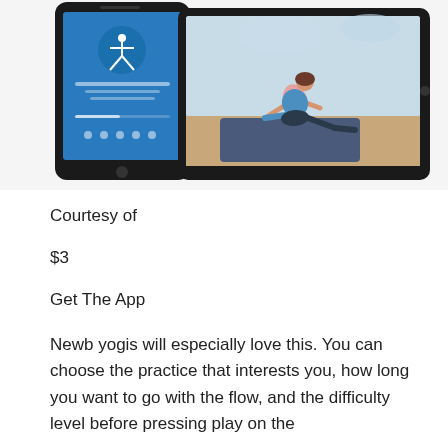[Figure (screenshot): Screenshot showing a yoga app on a smartphone and tablet. The smartphone displays a yoga pose figure in a circular icon with blue background and app UI controls. The tablet displays an animated yoga instructor in a lunge pose on a yoga mat with a light blue background.]
Courtesy of
$3
Get The App
Newb yogis will especially love this. You can choose the practice that interests you, how long you want to go with the flow, and the difficulty level before pressing play on the